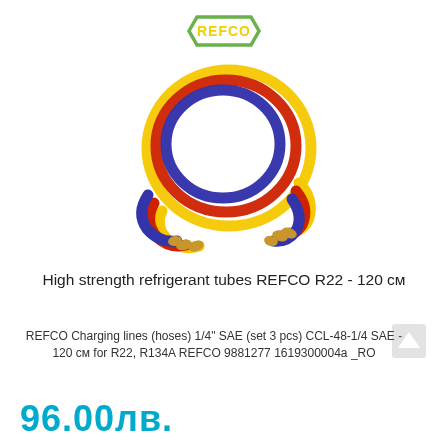[Figure (logo): REFCO logo - green hexagonal border with yellow text REFCO inside]
[Figure (photo): Three refrigerant charging hoses (red, blue, yellow) coiled in a ring with brass fittings at ends]
High strength refrigerant tubes REFCO R22 - 120 см
REFCO Charging lines (hoses) 1/4" SAE (set 3 pcs) CCL-48-1/4 SAE - 120 см for R22, R134A REFCO 9881277 1619300004а _RO
96.00лв.